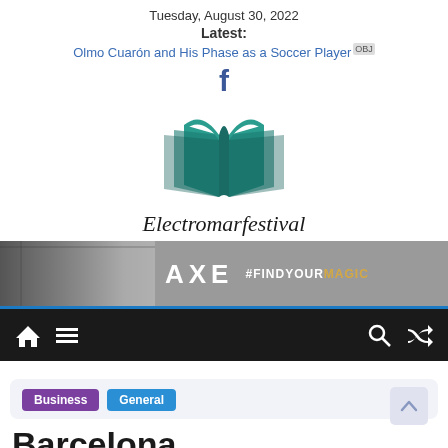Tuesday, August 30, 2022
Latest:
Olmo Cuarón and His Phase as a Soccer Player
[Figure (logo): Facebook 'f' icon in dark blue]
[Figure (logo): Electromarfestival open book logo in teal/dark teal colors with italic serif text 'Electromarfestival' below]
[Figure (photo): AXE advertisement banner showing a person from behind (black and white) with AXE logo and #FINDYOURMAGIC text]
[Figure (infographic): Dark navigation bar with home icon, hamburger menu, search icon, and shuffle icon]
Business
General
Barcelona transformations...